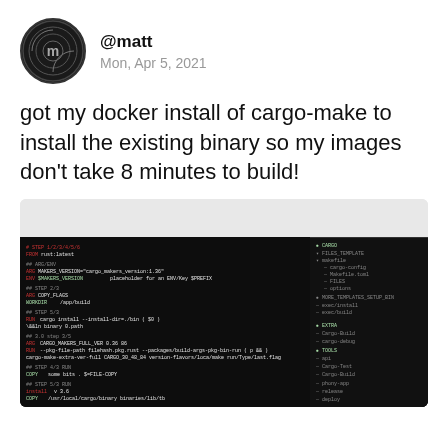@matt
Mon, Apr 5, 2021
got my docker install of cargo-make to install the existing binary so my images don't take 8 minutes to build!
[Figure (screenshot): Dark terminal/IDE screenshot showing a Dockerfile or cargo-make configuration with colored syntax highlighting on a black background. Right panel shows a file tree.]